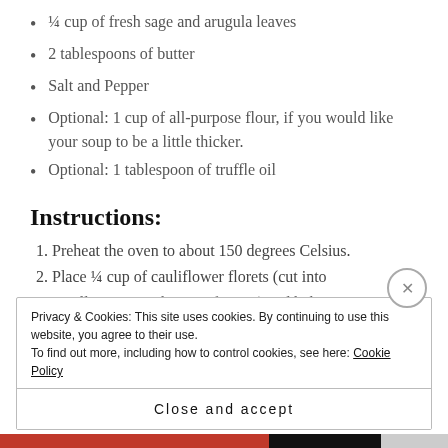¼ cup of fresh sage and arugula leaves
2 tablespoons of butter
Salt and Pepper
Optional: 1 cup of all-purpose flour, if you would like your soup to be a little thicker.
Optional: 1 tablespoon of truffle oil
Instructions:
1. Preheat the oven to about 150 degrees Celsius.
2. Place ¼ cup of cauliflower florets (cut into
Privacy & Cookies: This site uses cookies. By continuing to use this website, you agree to their use.
To find out more, including how to control cookies, see here: Cookie Policy
Close and accept